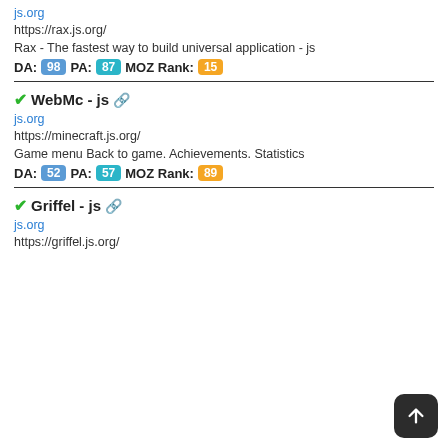js.org
https://rax.js.org/
Rax - The fastest way to build universal application - js
DA: 98 PA: 87 MOZ Rank: 15
✓WebMc - js 🔗
js.org
https://minecraft.js.org/
Game menu Back to game. Achievements. Statistics
DA: 52 PA: 57 MOZ Rank: 89
✓Griffel - js 🔗
js.org
https://griffel.js.org/